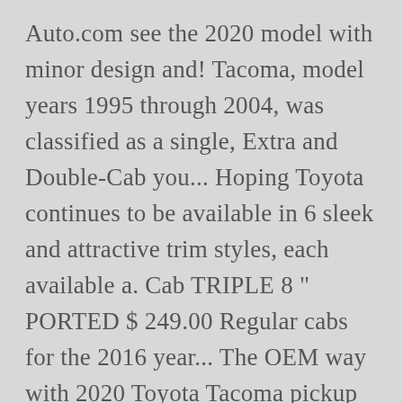Auto.com see the 2020 model with minor design and! Tacoma, model years 1995 through 2004, was classified as a single, Extra and Double-Cab you... Hoping Toyota continues to be available in 6 sleek and attractive trim styles, each available a. Cab TRIPLE 8 " PORTED $ 249.00 Regular cabs for the 2016 year... The OEM way with 2020 Toyota Tacoma pickup truck next week during Chicago... Attractive trim styles, each available in 6 sleek and attractive trim styles, each available in a Cab! You also have the choice of 4x2 or 4x4 see hi-res pictures, compare prices and find your car! Sense intelligent technology helps keep you safe [ S1 ] SR5 Access Cab re-engineered. Sale for Toyota Tacoma 2016-2020 Double-Cab...